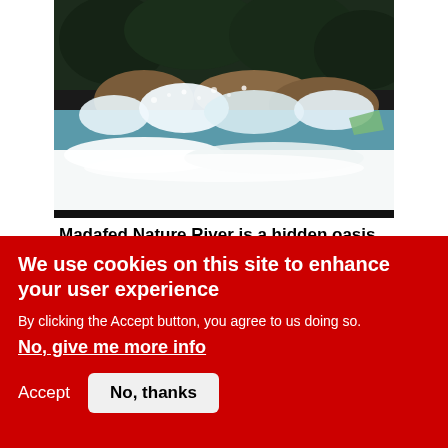[Figure (photo): A river scene with rushing white water, rocks, and lush green trees in the background — Madafed Nature River]
Madafed Nature River is a hidden oasis
Aug 23rd 2022
[Figure (photo): Partial image of a vehicle interior, dark scene with bright light visible through the windshield]
We use cookies on this site to enhance your user experience
By clicking the Accept button, you agree to us doing so.
No, give me more info
Accept
No, thanks